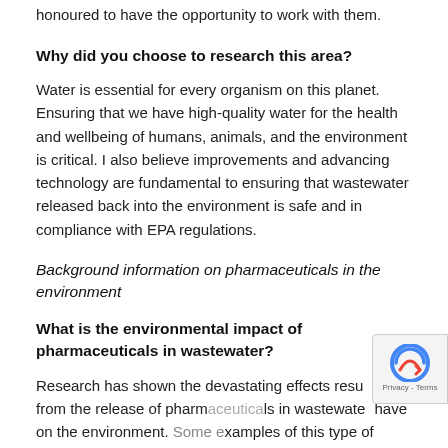honoured to have the opportunity to work with them.
Why did you choose to research this area?
Water is essential for every organism on this planet. Ensuring that we have high-quality water for the health and wellbeing of humans, animals, and the environment is critical. I also believe improvements and advancing technology are fundamental to ensuring that wastewater released back into the environment is safe and in compliance with EPA regulations.
Background information on pharmaceuticals in the environment
What is the environmental impact of pharmaceuticals in wastewater?
Research has shown the devastating effects resulting from the release of pharmaceuticals in wastewater have on the environment. Some examples of this type of